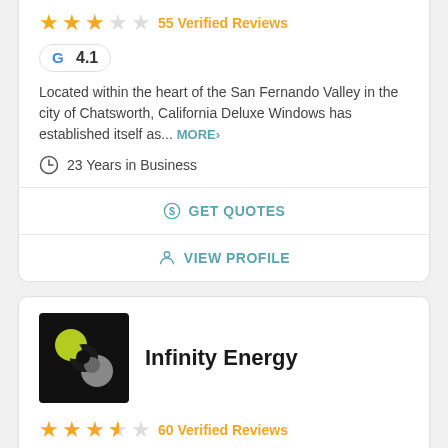[Figure (other): Star rating row showing stars and review count '55 Verified Reviews']
[Figure (other): Google badge showing G logo and rating 4.1]
Located within the heart of the San Fernando Valley in the city of Chatsworth, California Deluxe Windows has established itself as... MORE>
23 Years in Business
GET QUOTES
VIEW PROFILE
Infinity Energy
[Figure (logo): Infinity Energy logo: black background with green and grey circular infinity-like symbol]
[Figure (other): Star rating row showing 3.5 stars and '60 Verified Reviews']